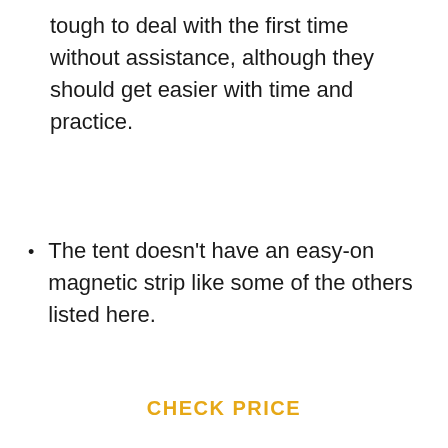tough to deal with the first time without assistance, although they should get easier with time and practice.
The tent doesn't have an easy-on magnetic strip like some of the others listed here.
CHECK PRICE